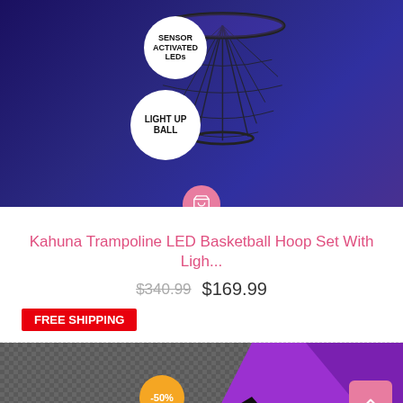[Figure (photo): Product photo of Kahuna Trampoline LED Basketball Hoop against dark blue/purple background with two white circular badges: 'SENSOR ACTIVATED LEDs' and 'LIGHT UP BALL'. A pink shopping cart icon appears at the bottom center.]
Kahuna Trampoline LED Basketball Hoop Set With Ligh...
$340.99 $169.99
FREE SHIPPING
[Figure (photo): Product photo of trampoline mat and purple padding/safety net close-up. An orange discount badge with '-50%' is visible in the top-left area of the image. A pink back-to-top button and green chat circle button are visible at the bottom right.]